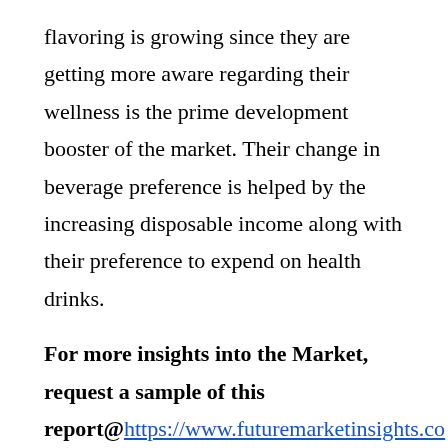flavoring is growing since they are getting more aware regarding their wellness is the prime development booster of the market. Their change in beverage preference is helped by the increasing disposable income along with their preference to expend on health drinks.
For more insights into the Market, request a sample of this report@https://www.futuremarketinsights.co